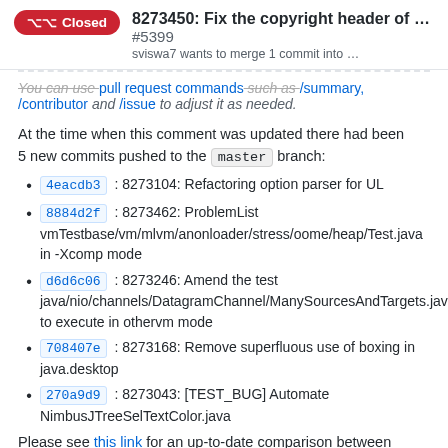8273450: Fix the copyright header of ... #5399 — sviswa7 wants to merge 1 commit into ...
You can use pull request commands such as /summary, /contributor and /issue to adjust it as needed.
At the time when this comment was updated there had been 5 new commits pushed to the master branch:
4eacdb3 : 8273104: Refactoring option parser for UL
8884d2f : 8273462: ProblemList vmTestbase/vm/mlvm/anonloader/stress/oome/heap/Test.java in -Xcomp mode
d6d6c06 : 8273246: Amend the test java/nio/channels/DatagramChannel/ManySourcesAndTargets.java to execute in othervm mode
708407e : 8273168: Remove superfluous use of boxing in java.desktop
270a9d9 : 8273043: [TEST_BUG] Automate NimbusJTreeSelTextColor.java
Please see this link for an up-to-date comparison between